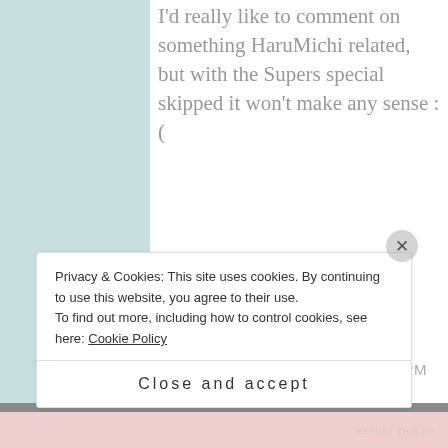I'd really like to comment on something HaruMichi related, but with the Supers special skipped it won't make any sense :(
Like
APRIL 3, 2016 AT 8:12 PM
[Figure (screenshot): Yellow advertisement banner for WordPress P2: 'Share, Discuss, Collaborate, P2.' with WordPress logo and 'Powered by' text]
REPORT THIS AD
Privacy & Cookies: This site uses cookies. By continuing to use this website, you agree to their use.
To find out more, including how to control cookies, see here: Cookie Policy
Close and accept